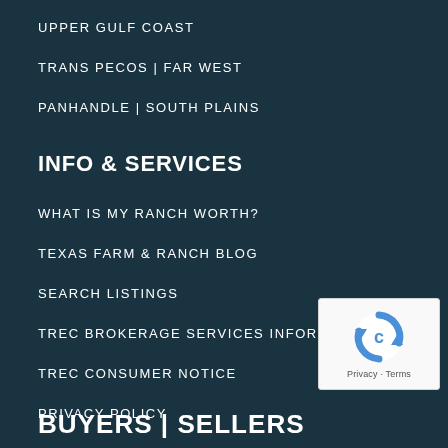UPPER GULF COAST
TRANS PECOS | FAR WEST
PANHANDLE | SOUTH PLAINS
INFO & SERVICES
WHAT IS MY RANCH WORTH?
TEXAS FARM & RANCH BLOG
SEARCH LISTINGS
TREC BROKERAGE SERVICES INFORMATION
TREC CONSUMER NOTICE
PRIVACY POLICY
[Figure (logo): reCAPTCHA logo widget with Privacy and Terms text]
BUYERS | SELLERS